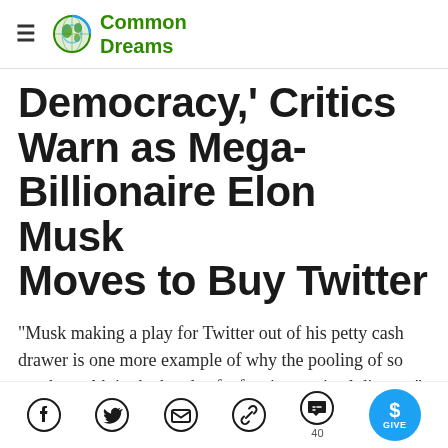Common Dreams
Democracy,' Critics Warn as Mega-Billionaire Elon Musk Moves to Buy Twitter
"Musk making a play for Twitter out of his petty cash drawer is one more example of why the pooling of so much wealth in the hands of a few is a societal disease."
Social share icons: Facebook, Twitter, Email, Link, Comments (40), Give